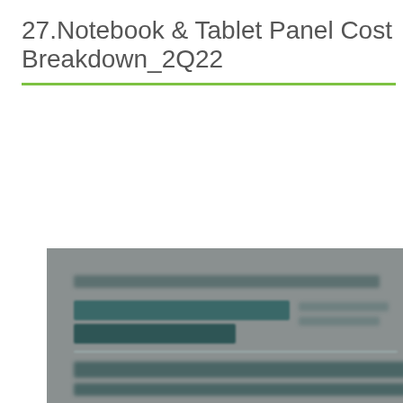27.Notebook & Tablet Panel Cost Breakdown_2Q22
[Figure (screenshot): Blurred preview of a report page showing a table or chart with teal/dark colored bars, overlaid with a bright green 'Sign in and download the report' button with a download icon.]